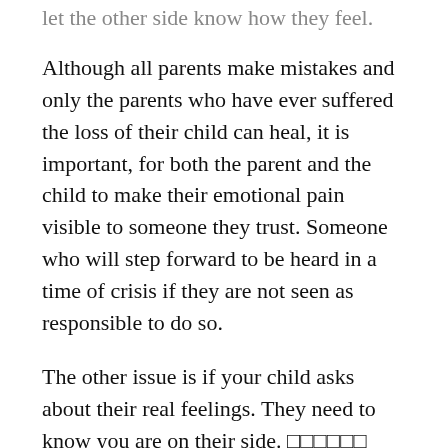let the other side know how they feel.
Although all parents make mistakes and only the parents who have ever suffered the loss of their child can heal, it is important, for both the parent and the child to make their emotional pain visible to someone they trust. Someone who will step forward to be heard in a time of crisis if they are not seen as responsible to do so.
The other issue is if your child asks about their real feelings. They need to know you are on their side. □□□□□□ Perhaps you will feel that a blood loss to your child involves some rightness or caring for your child even though it means your child will never be able to experience that rightness.
This isn’t right, either. Knowing your child and listening to your response will be more important in